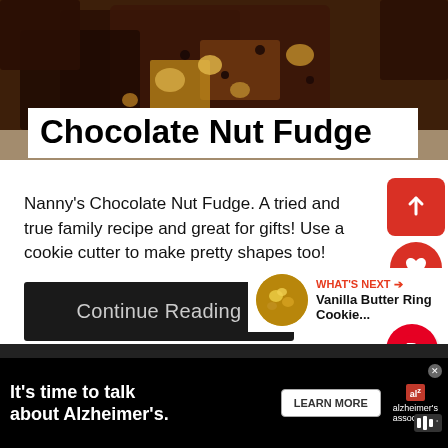[Figure (photo): Close-up photo of chocolate nut fudge pieces with nuts and chocolate chips]
Chocolate Nut Fudge
Nanny's Chocolate Nut Fudge. A tried and true family recipe and great for gifts! Use a cookie cutter to make pretty shapes too!
Continue Reading
[Figure (photo): Thumbnail image of Vanilla Butter Ring Cookie next to WHAT'S NEXT label]
[Figure (photo): Bottom strip showing peanut butter themed image with large bold text]
[Figure (other): Ad banner: It's time to talk about Alzheimer's. with LEARN MORE button and alzheimer's association logo]